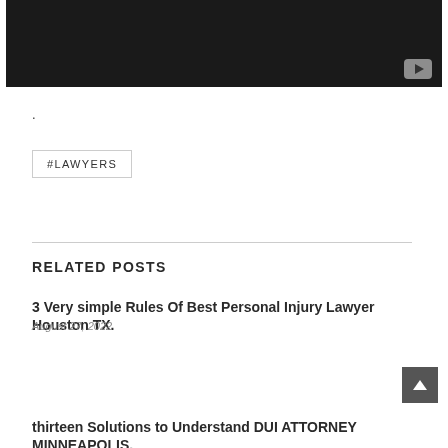[Figure (screenshot): Dark video thumbnail with YouTube play button icon in bottom-right corner]
.
#LAWYERS
RELATED POSTS
3 Very simple Rules Of Best Personal Injury Lawyer Houston TX.
August 27, 2022
thirteen Solutions to Understand DUI ATTORNEY MINNEAPOLIS.